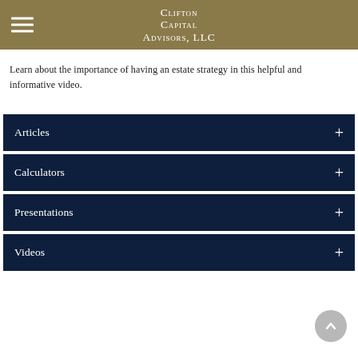Clifton Capital Advisors, LLC
Learn about the importance of having an estate strategy in this helpful and informative video.
Articles +
Calculators +
Presentations +
Videos +